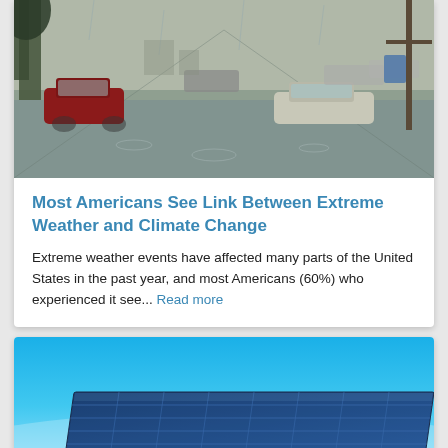[Figure (photo): Flooded street with cars partially submerged in water, viewed from street level]
Most Americans See Link Between Extreme Weather and Climate Change
Extreme weather events have affected many parts of the United States in the past year, and most Americans (60%) who experienced it see... Read more
[Figure (photo): Solar panels against a bright blue sky]